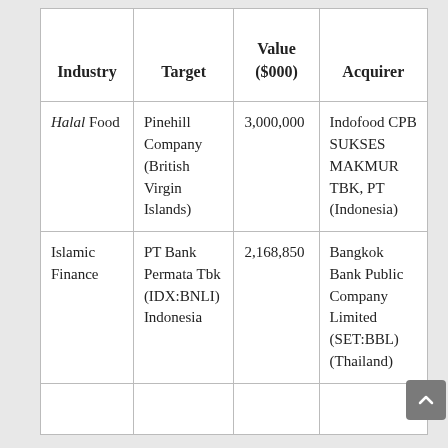| Industry | Target | Value ($000) | Acquirer |
| --- | --- | --- | --- |
| Halal Food | Pinehill Company (British Virgin Islands) | 3,000,000 | Indofood CPB SUKSES MAKMUR TBK, PT (Indonesia) |
| Islamic Finance | PT Bank Permata Tbk (IDX:BNLI) Indonesia | 2,168,850 | Bangkok Bank Public Company Limited (SET:BBL) (Thailand) |